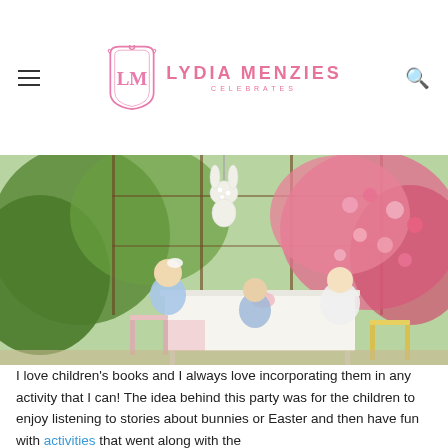Lydia Menzies Celebrates
[Figure (photo): Children sitting at an outdoor table in a garden with pink flowering bushes, dressed in light blue outfits, eating at a white-tablecloth table. A floral bunny decoration hangs above. Easter/spring garden party setting.]
I love children's books and I always love incorporating them in any activity that I can!  The idea behind this party was for the children to enjoy listening to stories about bunnies or Easter and then have fun with activities that went along with the